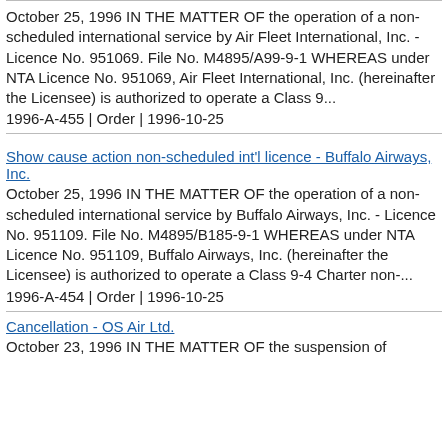October 25, 1996 IN THE MATTER OF the operation of a non-scheduled international service by Air Fleet International, Inc. - Licence No. 951069. File No. M4895/A99-9-1 WHEREAS under NTA Licence No. 951069, Air Fleet International, Inc. (hereinafter the Licensee) is authorized to operate a Class 9... 1996-A-455 | Order | 1996-10-25
Show cause action non-scheduled int'l licence - Buffalo Airways, Inc.
October 25, 1996 IN THE MATTER OF the operation of a non-scheduled international service by Buffalo Airways, Inc. - Licence No. 951109. File No. M4895/B185-9-1 WHEREAS under NTA Licence No. 951109, Buffalo Airways, Inc. (hereinafter the Licensee) is authorized to operate a Class 9-4 Charter non-... 1996-A-454 | Order | 1996-10-25
Cancellation - OS Air Ltd.
October 23, 1996 IN THE MATTER OF the suspension of